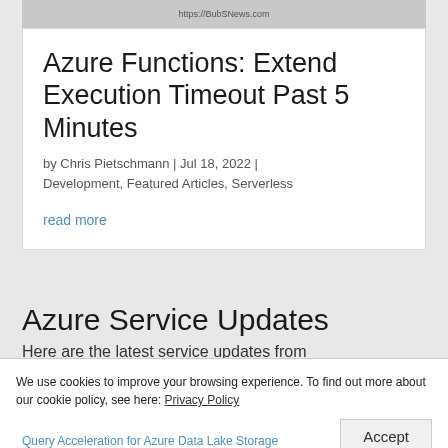[Figure (screenshot): Website header image with URL https://BubSNews.com shown]
Azure Functions: Extend Execution Timeout Past 5 Minutes
by Chris Pietschmann | Jul 18, 2022 | Development, Featured Articles, Serverless
read more
Azure Service Updates
Here are the latest service updates from Microsoft over the last week:
We use cookies to improve your browsing experience. To find out more about our cookie policy, see here: Privacy Policy
Accept
Query Acceleration for Azure Data Lake Storage